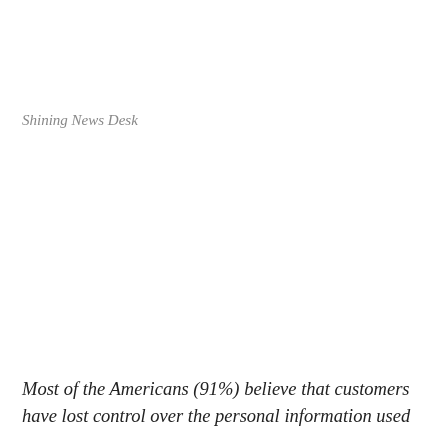Shining News Desk
Most of the Americans (91%) believe that customers have lost control over the personal information used